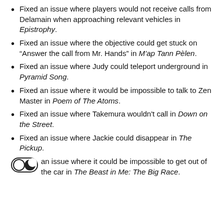Fixed an issue where players would not receive calls from Delamain when approaching relevant vehicles in Epistrophy.
Fixed an issue where the objective could get stuck on “Answer the call from Mr. Hands” in M’ap Tann Pèlen.
Fixed an issue where Judy could teleport underground in Pyramid Song.
Fixed an issue where it would be impossible to talk to Zen Master in Poem of The Atoms.
Fixed an issue where Takemura wouldn't call in Down on the Street.
Fixed an issue where Jackie could disappear in The Pickup.
Fixed an issue where it could be impossible to get out of the car in The Beast in Me: The Big Race.